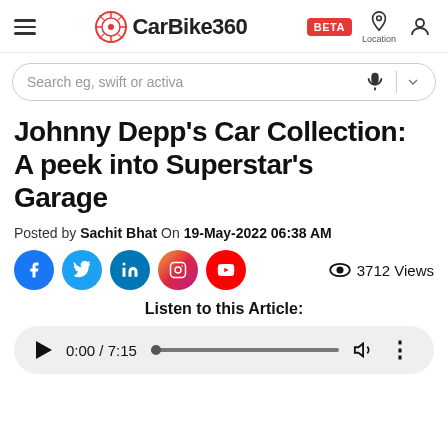CarBike360 — BETA — Location
Johnny Depp's Car Collection: A peek into Superstar's Garage
Posted by Sachit Bhat On 19-May-2022 06:38 AM
[Figure (infographic): Social media share icons: Facebook, Twitter, LinkedIn, Instagram, YouTube. View count: 3712 Views.]
Listen to this Article:
[Figure (other): Audio player showing 0:00 / 7:15 with play button, progress bar, volume icon, and more options icon.]